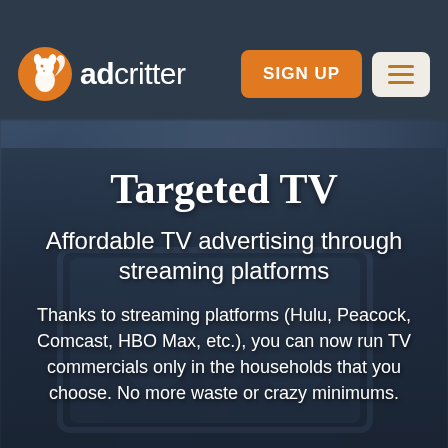adcritter — SIGN UP | Menu
Targeted TV
Affordable TV advertising through streaming platforms
Thanks to streaming platforms (Hulu, Peacock, Comcast, HBO Max, etc.), you can now run TV commercials only in the households that you choose. No more waste or crazy minimums.